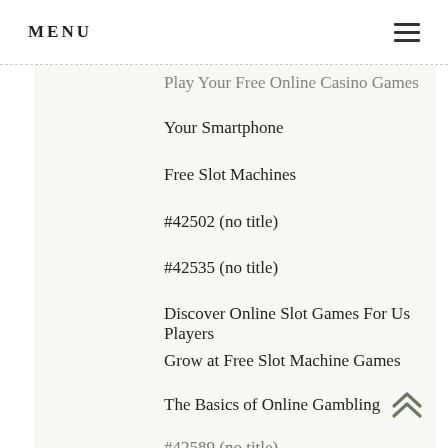MENU
Play Your Free Online Casino Games From…
Your Smartphone
Free Slot Machines
#42502 (no title)
#42535 (no title)
Discover Online Slot Games For Us Players
Grow at Free Slot Machine Games
The Basics of Online Gambling
#42589 (no title)
#42612 (no title)